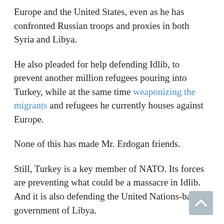Europe and the United States, even as he has confronted Russian troops and proxies in both Syria and Libya.
He also pleaded for help defending Idlib, to prevent another million refugees pouring into Turkey, while at the same time weaponizing the migrants and refugees he currently houses against Europe.
None of this has made Mr. Erdogan friends.
Still, Turkey is a key member of NATO. Its forces are preventing what could be a massacre in Idlib. And it is also defending the United Nations-backed government of Libya.
So the dilemma for Europe and NATO is complicated: simultaneously to support Mr. Erdogan, try to pull him back into line against Moscow, and resist what Europeans consider his migration blackmail.